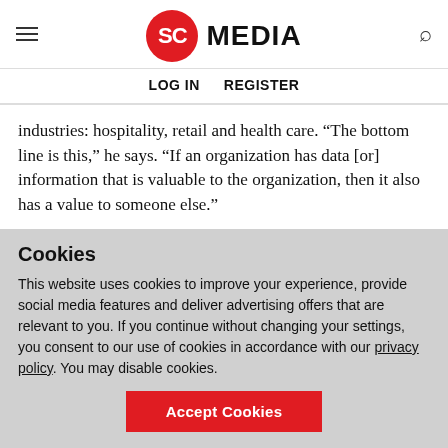SC MEDIA — LOG IN   REGISTER
industries: hospitality, retail and health care. “The bottom line is this,” he says. “If an organization has data [or] information that is valuable to the organization, then it also has a value to someone else.”
Motivating factors
Another issue is the general attitude that employees have
Cookies
This website uses cookies to improve your experience, provide social media features and deliver advertising offers that are relevant to you. If you continue without changing your settings, you consent to our use of cookies in accordance with our privacy policy. You may disable cookies.
Accept Cookies